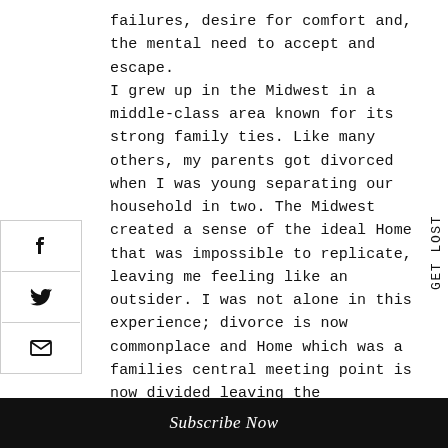failures, desire for comfort and, the mental need to accept and escape. I grew up in the Midwest in a middle-class area known for its strong family ties. Like many others, my parents got divorced when I was young separating our household in two. The Midwest created a sense of the ideal Home that was impossible to replicate, leaving me feeling like an outsider. I was not alone in this experience; divorce is now commonplace and Home which was a families central meeting point is now divided leaving the experience of Home lacking a totality that was once there. As a society, families are changing, and how we understand the family unit is not the same as it once was. The idea of Home is what sustained my own idealized notions of family, however, that changed as I have transitioned into adulthood.
GET LOST
Subscribe Now